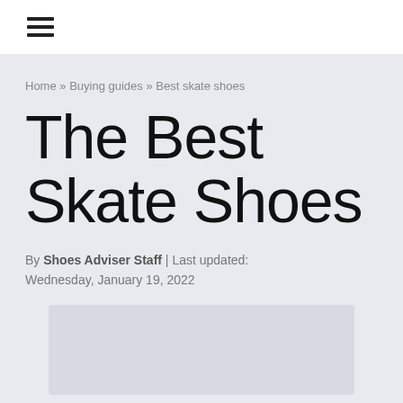☰ (hamburger menu icon)
Home » Buying guides » Best skate shoes
The Best Skate Shoes
By Shoes Adviser Staff | Last updated: Wednesday, January 19, 2022
[Figure (photo): Image placeholder area for best skate shoes article hero image]